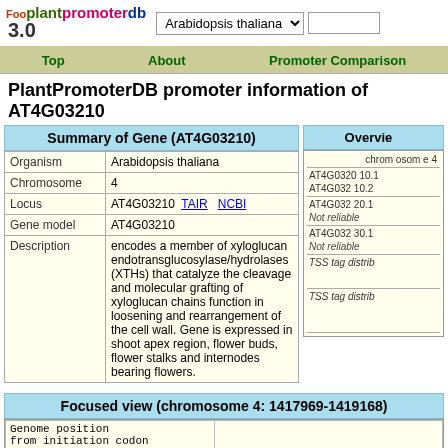plantpromoterdb 3.0 | Arabidopsis thaliana | Top | About | Promoter Comparison
PlantPromoterDB promoter information of AT4G03210
Summary of Gene (AT4G03210)
| Field | Value |
| --- | --- |
| Organism | Arabidopsis thaliana |
| Chromosome | 4 |
| Locus | AT4G03210  TAIR    NCBI |
| Gene model | AT4G03210 |
| Description | encodes a member of xyloglucan endotransglucosylase/hydrolases (XTHs) that catalyze the cleavage and molecular grafting of xyloglucan chains function in loosening and rearrangement of the cell wall. Gene is expressed in shoot apex region, flower buds, flower stalks and internodes bearing flowers. |
Overview
chromosome 4
AT4G03210.1
AT4G03210.2
AT4G03220.1
Not reliable
AT4G03230.1
Not reliable
TSS tag distrib
TSS tag distrib
Focused view (chromosome 4: 1417969-1419168)
Genome position
from initiation codon
AT4G03210.1